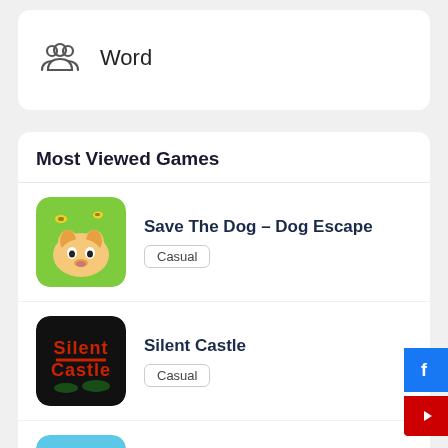[Figure (screenshot): Word category icon with people/group SVG icon]
Word
Most Viewed Games
[Figure (illustration): Save The Dog game icon - cartoon dog with bees]
Save The Dog – Dog Escape
Casual
[Figure (illustration): Silent Castle game icon - dark background with red text]
Silent Castle
Casual
[Figure (illustration): Closet Organizer 2022 game icon - colorful folded clothes]
Closet Organizer 2022
Casual
[Figure (illustration): Hungry Fish Shark Eat Fish.io game icon - underwater with fish]
Hungry Fish Shark Eat Fish.io
Music